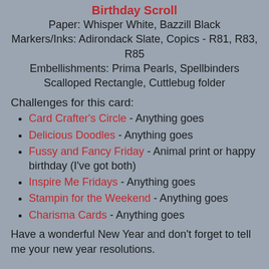Birthday Scroll
Paper: Whisper White, Bazzill Black
Markers/Inks: Adirondack Slate, Copics - R81, R83, R85
Embellishments: Prima Pearls, Spellbinders Scalloped Rectangle, Cuttlebug folder
Challenges for this card:
Card Crafter's Circle - Anything goes
Delicious Doodles - Anything goes
Fussy and Fancy Friday - Animal print or happy birthday (I've got both)
Inspire Me Fridays - Anything goes
Stampin for the Weekend - Anything goes
Charisma Cards - Anything goes
Have a wonderful New Year and don't forget to tell me your new year resolutions.